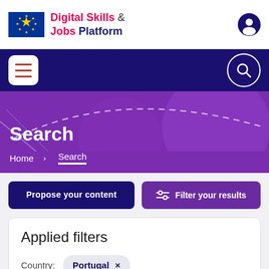Digital Skills & Jobs Platform
[Figure (screenshot): Navigation bar with hamburger menu and search icon on dark blue background]
Search
Home > Search
Propose your content
Filter your results
Applied filters
Country: Portugal ×
Tags: Cybersecurity ×